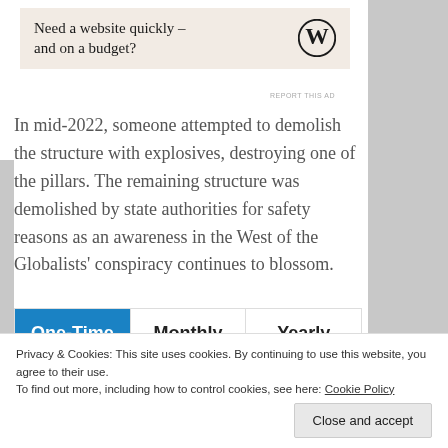[Figure (logo): WordPress logo on beige ad banner reading 'Need a website quickly – and on a budget?']
In mid-2022, someone attempted to demolish the structure with explosives, destroying one of the pillars. The remaining structure was demolished by state authorities for safety reasons as an awareness in the West of the Globalists' conspiracy continues to blossom.
| One-Time | Monthly | Yearly |
| --- | --- | --- |
| Make a one-time donation |  |  |
Privacy & Cookies: This site uses cookies. By continuing to use this website, you agree to their use.
To find out more, including how to control cookies, see here: Cookie Policy